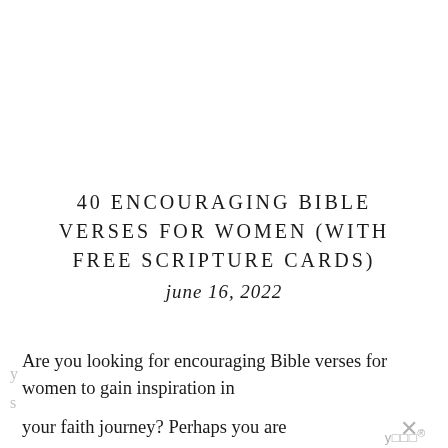40 ENCOURAGING BIBLE VERSES FOR WOMEN (WITH FREE SCRIPTURE CARDS)
june 16, 2022
Are you looking for encouraging Bible verses for women to gain inspiration in your faith journey? Perhaps you are